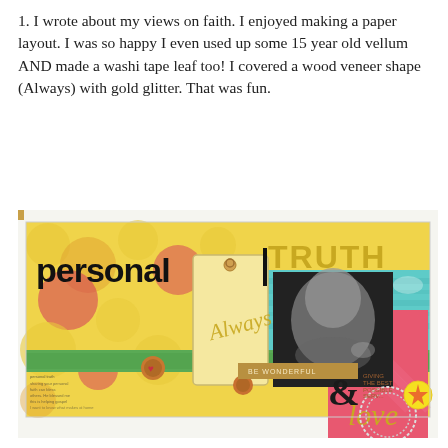1. I wrote about my views on faith. I enjoyed making a paper layout. I was so happy I even used up some 15 year old vellum AND made a washi tape leaf too! I covered a wood veneer shape (Always) with gold glitter. That was fun.
[Figure (photo): A scrapbook layout page featuring decorative patterned papers in red, yellow, and teal/green. Text elements read 'personal TRUTH' at the top. A manila tag with a gold glitter cursive 'Always' word embellishment is in the center-left. A black and white photo of a child is on the right side. Decorative elements include buttons, doily, and text reading '& love' in gold glitter letters at the bottom right.]